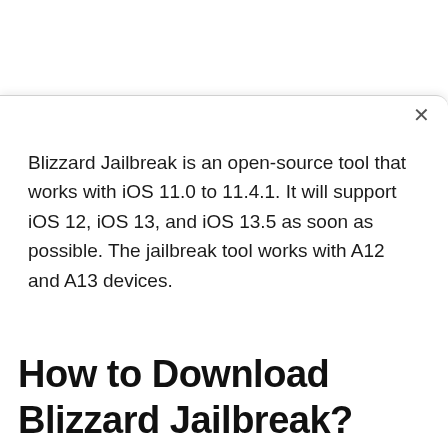Blizzard Jailbreak is an open-source tool that works with iOS 11.0 to 11.4.1. It will support iOS 12, iOS 13, and iOS 13.5 as soon as possible. The jailbreak tool works with A12 and A13 devices.
How to Download Blizzard Jailbreak?